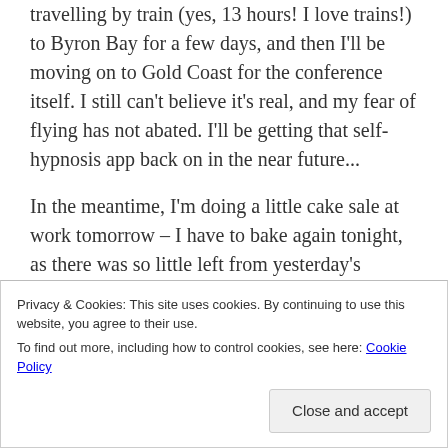travelling by train (yes, 13 hours!  I love trains!) to Byron Bay for a few days, and then I'll be moving on to Gold Coast for the conference itself.  I still can't believe it's real, and my fear of flying has not abated.  I'll be getting that self-hypnosis app back on in the near future...
In the meantime, I'm doing a little cake sale at work tomorrow – I have to bake again tonight, as there was so little left from yesterday's extravaganza.  And I have a little sponsored thing underway – more about that later in the week!  For today, I'm just enjoying the glow of
Privacy & Cookies: This site uses cookies. By continuing to use this website, you agree to their use.
To find out more, including how to control cookies, see here: Cookie Policy